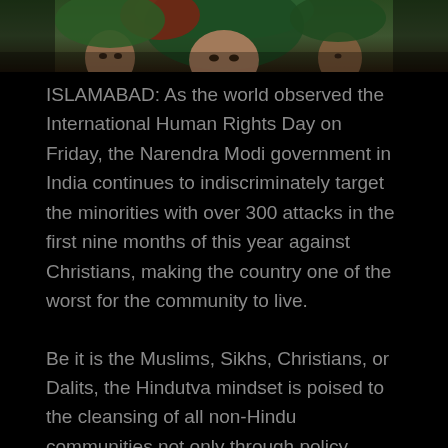[Figure (photo): Photograph of women wearing headscarves (hijabs) in green and red colors, faces partially visible, dark background]
ISLAMABAD: As the world observed the International Human Rights Day on Friday, the Narendra Modi government in India continues to indiscriminately target the minorities with over 300 attacks in the first nine months of this year against Christians, making the country one of the worst for the community to live.
Be it is the Muslims, Sikhs, Christians, or Dalits, the Hindutva mindset is poised to the cleansing of all non-Hindu communities not only through policy measures but also the use of force through RSS goons.
In September this year, Pakistan had issued a 132-page dossier on Indian war crimes in IIOJK which contained reports of 32 human rights watchdogs and 14 reports by